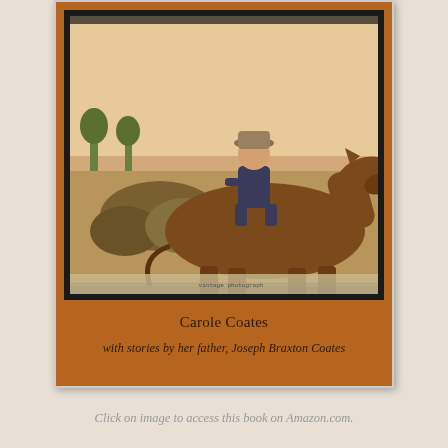[Figure (photo): Book cover with brown/amber background. Contains a vintage sepia-toned photograph with black border showing a child wearing overalls and a hat sitting on a horse or mule in a rural field setting. Below the photo: author name 'Carole Coates' and subtitle 'with stories by her father, Joseph Braxton Coates'.]
Click on image to access this book on Amazon.com.